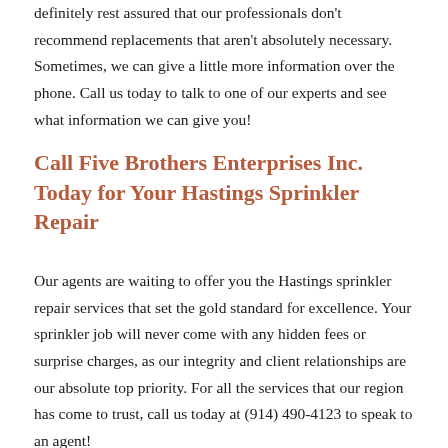definitely rest assured that our professionals don't recommend replacements that aren't absolutely necessary. Sometimes, we can give a little more information over the phone. Call us today to talk to one of our experts and see what information we can give you!
Call Five Brothers Enterprises Inc. Today for Your Hastings Sprinkler Repair
Our agents are waiting to offer you the Hastings sprinkler repair services that set the gold standard for excellence. Your sprinkler job will never come with any hidden fees or surprise charges, as our integrity and client relationships are our absolute top priority. For all the services that our region has come to trust, call us today at (914) 490-4123 to speak to an agent!